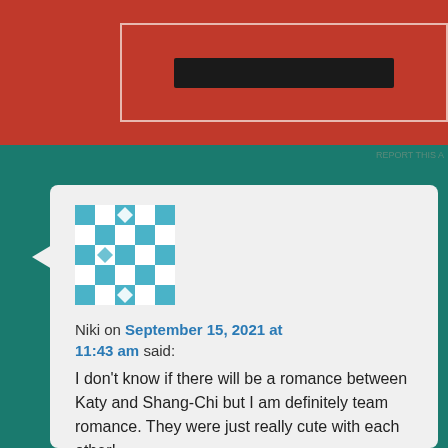[Figure (screenshot): Top red banner with a dark button/bar inside a bordered box]
REPORT THIS A
Niki on September 15, 2021 at 11:43 am said:
I don't know if there will be a romance between Katy and Shang-Chi but I am definitely team romance. They were just really cute with each other!
I'm thinking the sister will be evil and maybe show up in other movies/shows leading the ten rings organization but